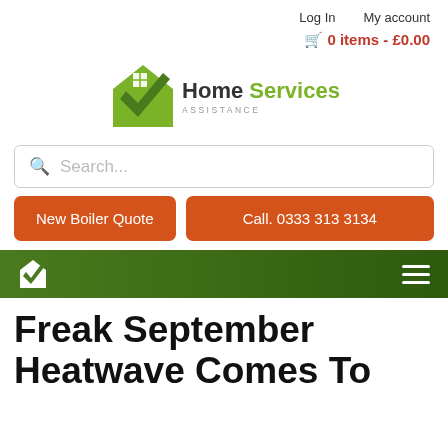Log In    My account
🛒 0 items - £0.00
[Figure (logo): Home Services Assistance logo with green house/shield icon and text 'Home Services Assistance']
Search...
New Boiler Quote
Call. 0333 313 3134
Freak September Heatwave Comes To